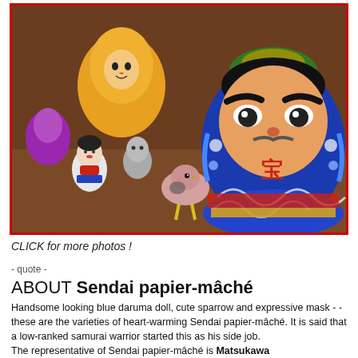[Figure (photo): Colorful Japanese papier-mâché dolls (daruma, sparrow, kokeshi) arranged on a table. The prominent piece is a large blue daruma doll with an expressive face on the right side. Other colorful figurines are in the background including purple, yellow, and white pieces.]
CLICK for more photos !
- quote -
ABOUT Sendai papier-mâché
Handsome looking blue daruma doll, cute sparrow and expressive mask - - these are the varieties of heart-warming Sendai papier-mâché. It is said that a low-ranked samurai warrior started this as his side job. The representative of Sendai papier-mâché is Matsukawa ...